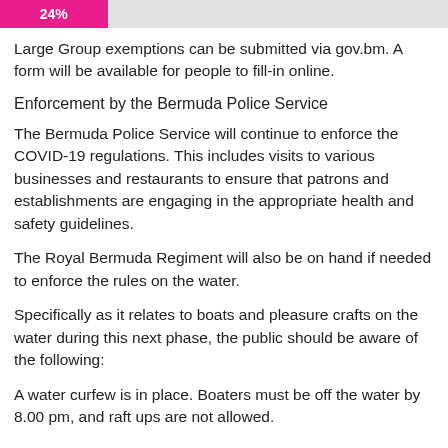[Figure (other): Progress bar showing 24% in pink/magenta color on a light grey background]
Large Group exemptions can be submitted via gov.bm. A form will be available for people to fill-in online.
Enforcement by the Bermuda Police Service
The Bermuda Police Service will continue to enforce the COVID-19 regulations. This includes visits to various businesses and restaurants to ensure that patrons and establishments are engaging in the appropriate health and safety guidelines.
The Royal Bermuda Regiment will also be on hand if needed to enforce the rules on the water.
Specifically as it relates to boats and pleasure crafts on the water during this next phase, the public should be aware of the following:
A water curfew is in place. Boaters must be off the water by 8.00 pm, and raft ups are not allowed.